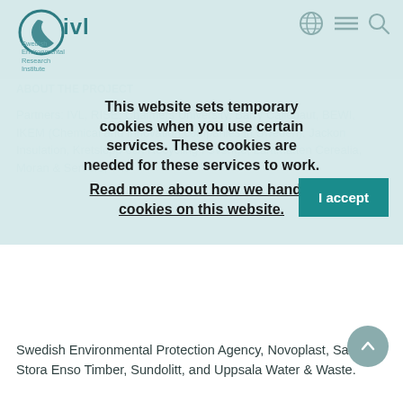[Figure (logo): IVL Swedish Environmental Research Institute logo with teal circular swirl icon and 'ivl' text]
This website sets temporary cookies when you use certain services. These cookies are needed for these services to work. Read more about how we handle cookies on this website.
I accept
Swedish Environmental Protection Agency, Novoplast, Samhall, Stora Enso Timber, Sundolitt, and Uppsala Water & Waste.
Financing: Vinnova within the Challenge-driven innovation programme, step 2. Solutions can be